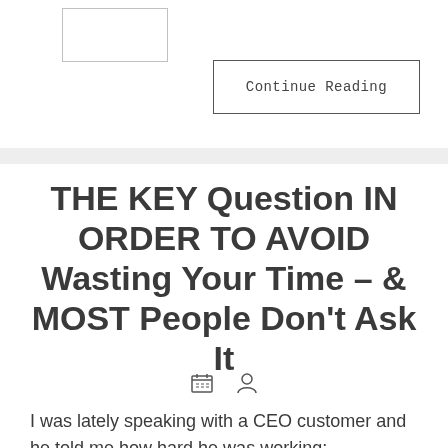[Figure (other): Small rectangular image placeholder in the top-left area]
Continue Reading
THE KEY Question IN ORDER TO AVOID Wasting Your Time – & MOST People Don't Ask It
I was lately speaking with a CEO customer and he told me how hard he was working: